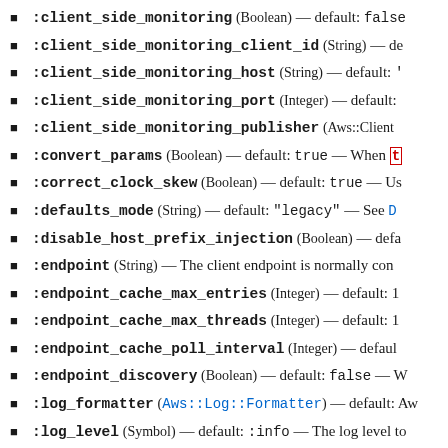:client_side_monitoring (Boolean) — default: false
:client_side_monitoring_client_id (String) — de
:client_side_monitoring_host (String) — default: '
:client_side_monitoring_port (Integer) — default:
:client_side_monitoring_publisher (Aws::Client
:convert_params (Boolean) — default: true — When t
:correct_clock_skew (Boolean) — default: true — Us
:defaults_mode (String) — default: "legacy" — See D
:disable_host_prefix_injection (Boolean) — defa
:endpoint (String) — The client endpoint is normally con
:endpoint_cache_max_entries (Integer) — default: 1
:endpoint_cache_max_threads (Integer) — default: 1
:endpoint_cache_poll_interval (Integer) — defaul
:endpoint_discovery (Boolean) — default: false — W
:log_formatter (Aws::Log::Formatter) — default: Aw
:log_level (Symbol) — default: :info — The log level to
:logger (Logger) — The Logger instance to send log mes